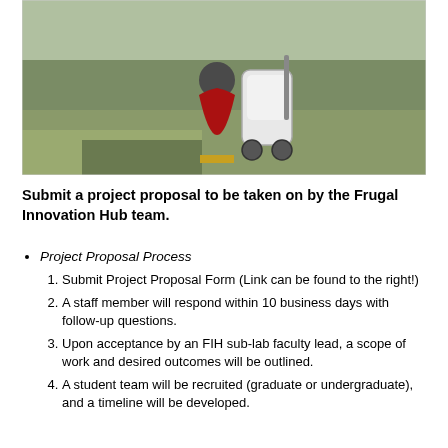[Figure (photo): Outdoor photo showing a person in a red and gold traditional dress standing next to a white wheeled device (portable medical or assistive technology device) in a grassy field.]
Submit a project proposal to be taken on by the Frugal Innovation Hub team.
Project Proposal Process
Submit Project Proposal Form (Link can be found to the right!)
A staff member will respond within 10 business days with follow-up questions.
Upon acceptance by an FIH sub-lab faculty lead, a scope of work and desired outcomes will be outlined.
A student team will be recruited (graduate or undergraduate), and a timeline will be developed.